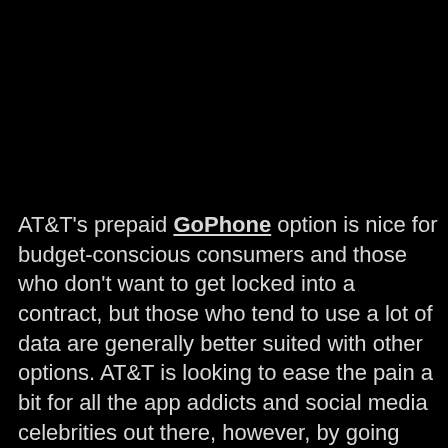AT&T's prepaid GoPhone option is nice for budget-conscious consumers and those who don't want to get locked into a contract, but those who tend to use a lot of data are generally better suited with other options. AT&T is looking to ease the pain a bit for all the app addicts and social media celebrities out there, however, by going through with a slight increase to their data top-up packages for GoPhone users. While all of the plans across the board are getting a data top-up boost, the more expensive base plans tend to feature a bit more